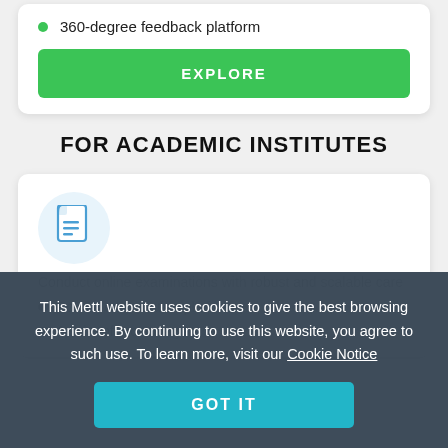360-degree feedback platform
EXPLORE
FOR ACADEMIC INSTITUTES
[Figure (illustration): Blue document icon inside a light blue circle]
Conduct online examinations with robust and scalable care
Robust examination platform
A suite of proctoring to...
This Mettl website uses cookies to give the best browsing experience. By continuing to use this website, you agree to such use. To learn more, visit our Cookie Notice
GOT IT